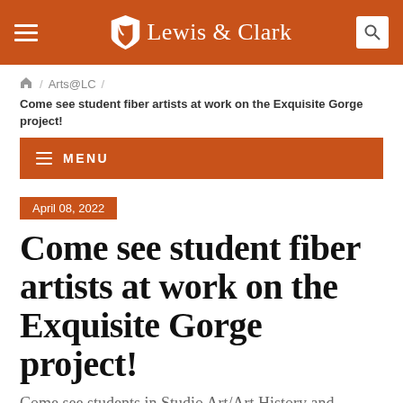Lewis & Clark
🏠 / Arts@LC / Come see student fiber artists at work on the Exquisite Gorge project!
≡ MENU
April 08, 2022
Come see student fiber artists at work on the Exquisite Gorge project!
Come see students in Studio Art/Art History and Environmental Studies working with